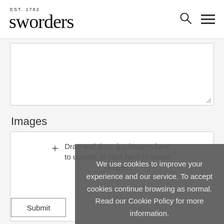EST. 1782 sworders
Drag and drop .jpg images here to upload, or click here to select images.
Images
We use cookies to improve your experience and our service. To accept cookies continue browsing as normal. Read our Cookie Policy for more information.
Ok
Submit